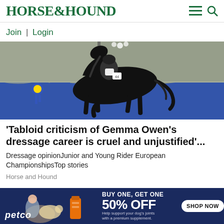HORSE&HOUND
Join | Login
[Figure (photo): A rider on a black horse performing dressage in an indoor arena with blue draping and a blue rosette ribbon visible]
'Tabloid criticism of Gemma Owen's dressage career is cruel and unjustified'...
Dressage opinionJunior and Young Rider European ChampionshipsTop stories
Horse and Hound
[Figure (advertisement): Petco advertisement: BUY ONE, GET ONE 50% OFF - Help support your dog's joints with a premium supplement. SHOP NOW button.]